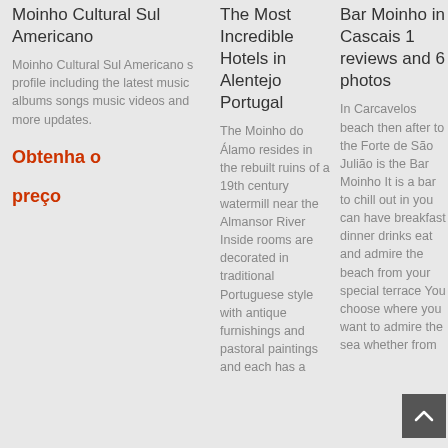Moinho Cultural Sul Americano
Moinho Cultural Sul Americano s profile including the latest music albums songs music videos and more updates.
Obtenha o

preço
The Most Incredible Hotels in Alentejo Portugal
The Moinho do Álamo resides in the rebuilt ruins of a 19th century watermill near the Almansor River Inside rooms are decorated in traditional Portuguese style with antique furnishings and pastoral paintings and each has a
Bar Moinho in Cascais 1 reviews and 6 photos
In Carcavelos beach then after to the Forte de São Julião is the Bar Moinho It is a bar to chill out in you can have breakfast dinner drinks eat and admire the beach from your special terrace You choose where you want to admire the sea whether from